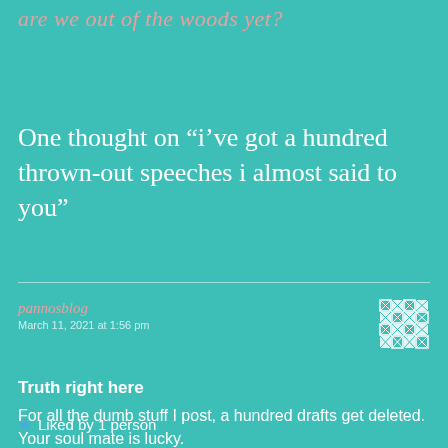are we out of the woods yet?
One thought on “i’ve got a hundred thrown-out speeches i almost said to you”
pannosblog
March 11, 2021 at 1:56 pm
[Figure (logo): Decorative geometric/quilt pattern avatar icon in white/teal]
Truth right here
For all the dumb stuff I post, a hundred drafts get deleted. Your soul mate is lucky.
★ Liked by 1 person